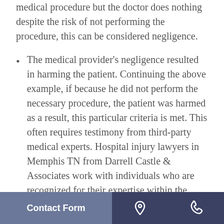medical procedure but the doctor does nothing despite the risk of not performing the procedure, this can be considered negligence.
The medical provider’s negligence resulted in harming the patient. Continuing the above example, if because he did not perform the necessary procedure, the patient was harmed as a result, this particular criteria is met. This often requires testimony from third-party medical experts. Hospital injury lawyers in Memphis TN from Darrell Castle & Associates work with individuals who are recognized for their expertise within the medical profession. It’s not unusual to call upon the...
Contact Form